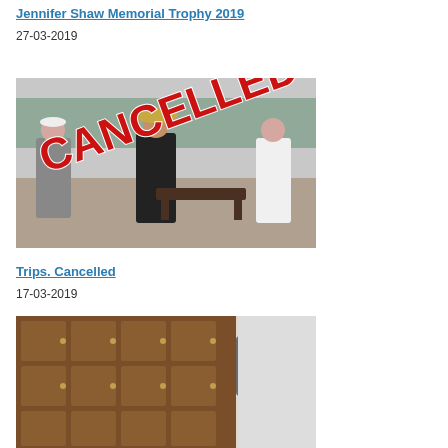Jennifer Shaw Memorial Trophy 2019
27-03-2019
[Figure (photo): Three people standing on a pétanque court outdoors with a large red CANCELLED text overlaid diagonally on the image.]
Trips. Cancelled
17-03-2019
[Figure (photo): Wooden lockers or cubby storage unit with bags on top, partially shown.]